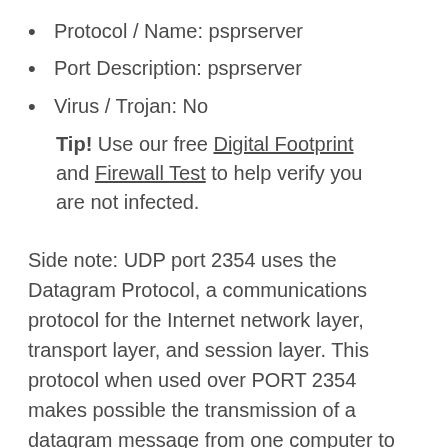Protocol / Name: psprserver
Port Description: psprserver
Virus / Trojan: No
Tip! Use our free Digital Footprint and Firewall Test to help verify you are not infected.
Side note: UDP port 2354 uses the Datagram Protocol, a communications protocol for the Internet network layer, transport layer, and session layer. This protocol when used over PORT 2354 makes possible the transmission of a datagram message from one computer to